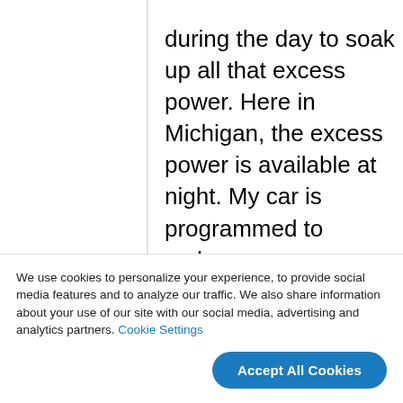the day. EVs need to recharge there during the day to soak up all that excess power. Here in Michigan, the excess power is available at night. My car is programmed to recharge automatically between 11:00 pm and 7:00 am when electricity demand is other wise low.

BTW, I am all for more nuclear, especially the smaller power station designs and further research and
We use cookies to personalize your experience, to provide social media features and to analyze our traffic. We also share information about your use of our site with our social media, advertising and analytics partners. Cookie Settings
Accept All Cookies